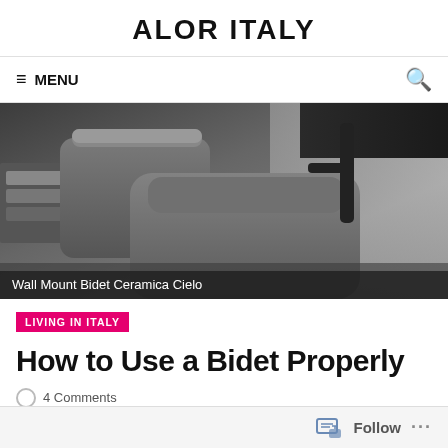ALOR ITALY
≡ MENU
[Figure (photo): Wall-mounted bidet and toilet in matte grey from Ceramica Cielo, photographed in a modern bathroom with dark fixtures and shelving.]
Wall Mount Bidet Ceramica Cielo
LIVING IN ITALY
How to Use a Bidet Properly
4 Comments
Follow